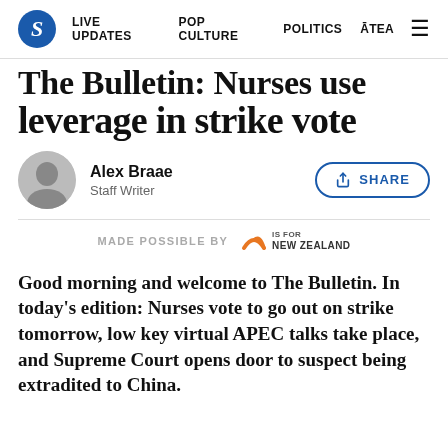S  LIVE UPDATES  POP CULTURE  POLITICS  ĀTEA  ☰
The Bulletin: Nurses use leverage in strike vote
Alex Braae
Staff Writer
MADE POSSIBLE BY  [Z is for New Zealand logo]
Good morning and welcome to The Bulletin. In today's edition: Nurses vote to go out on strike tomorrow, low key virtual APEC talks take place, and Supreme Court opens door to suspect being extradited to China.